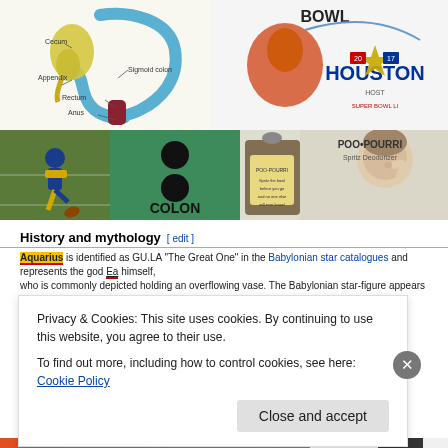[Figure (illustration): Top collage: anatomy diagram of colon/intestine with labels Cecum, Appendix, Sigmoid colon, Rectum, Anus; Houston Super Bowl logo with turkey mascot; football player kicking; green tile with two black dots and word COLON; person picking nose; Poo-Pourri spray bottle advertisement]
History and mythology [edit]
Aquarius is identified as GU.LA "The Great One" in the Babylonian star catalogues and represents the god Ea himself, who is commonly depicted holding an overflowing vase. The Babylonian star-figure appears on entitlement stones and
Privacy & Cookies: This site uses cookies. By continuing to use this website, you agree to their use.
To find out more, including how to control cookies, see here: Cookie Policy
Close and accept